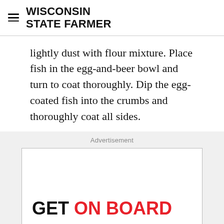WISCONSIN STATE FARMER
lightly dust with flour mixture. Place fish in the egg-and-beer bowl and turn to coat thoroughly. Dip the egg-coated fish into the crumbs and thoroughly coat all sides.
Advertisement
[Figure (other): Advertisement banner with text GET ON BOARD in black and red, Stand Up To Cancer and American Airlines logos, and a LEARN MORE button]